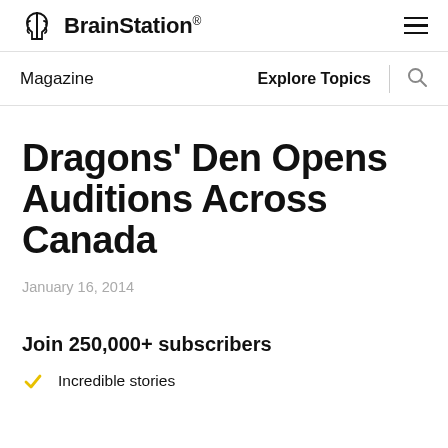BrainStation®
Magazine  Explore Topics
Dragons' Den Opens Auditions Across Canada
January 16, 2014
Join 250,000+ subscribers
Incredible stories